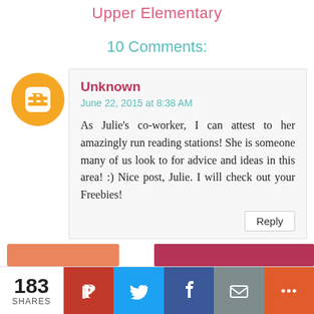Upper Elementary
10 Comments:
Unknown
June 22, 2015 at 8:38 AM
As Julie's co-worker, I can attest to her amazingly run reading stations! She is someone many of us look to for advice and ideas in this area! :) Nice post, Julie. I will check out your Freebies!
Reply
183 SHARES